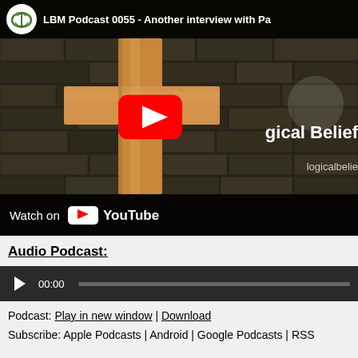[Figure (screenshot): YouTube video thumbnail for LBM Podcast 0055 - Another interview with Pa... showing a stone wall with a cross and YouTube play button overlay, with 'gical Belief' and 'logicalbelie' text, and a Watch on YouTube bar at the bottom]
Audio Podcast:
[Figure (screenshot): Audio podcast player with play button showing 00:00 and a progress bar]
Podcast: Play in new window | Download
Subscribe: Apple Podcasts | Android | Google Podcasts | RSS